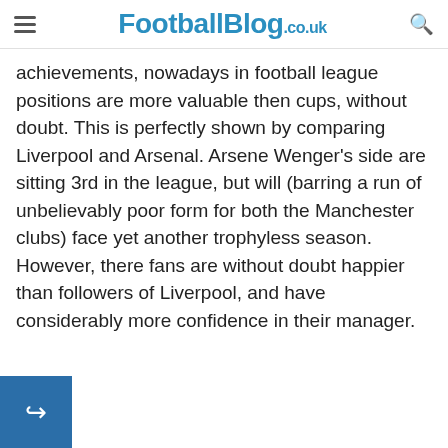FootballBlog.co.uk
achievements, nowadays in football league positions are more valuable then cups, without doubt. This is perfectly shown by comparing Liverpool and Arsenal. Arsene Wenger’s side are sitting 3rd in the league, but will (barring a run of unbelievably poor form for both the Manchester clubs) face yet another trophyless season. However, there fans are without doubt happier than followers of Liverpool, and have considerably more confidence in their manager.